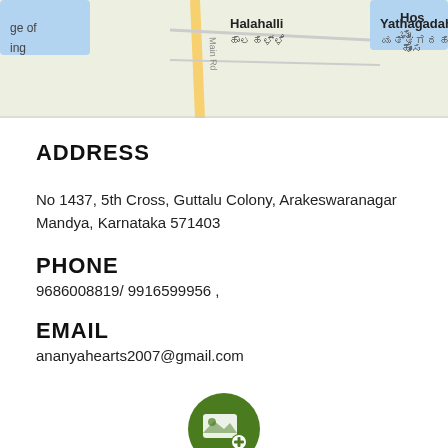[Figure (map): Google Maps screenshot showing Halahalli, Yathagadahalli and surrounding areas in Karnataka, India with road names in English and Kannada script.]
ADDRESS
No 1437, 5th Cross, Guttalu Colony, Arakeswaranagar
Mandya, Karnataka 571403
PHONE
9686008819/ 9916599956 ,
EMAIL
ananyahearts2007@gmail.com
[Figure (illustration): Green circular button with an image/photo add icon (image with a plus sign).]